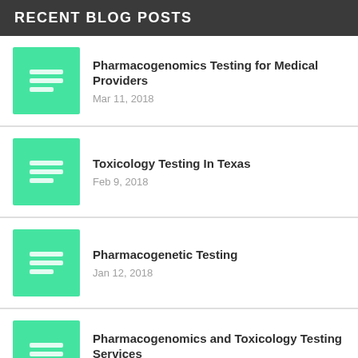RECENT BLOG POSTS
Pharmacogenomics Testing for Medical Providers
Mar 11, 2018
Toxicology Testing In Texas
Feb 9, 2018
Pharmacogenetic Testing
Jan 12, 2018
Pharmacogenomics and Toxicology Testing Services
Nov 21, 2017
Effective Toxicology Testing for Athletic Programs
Oct 30, 2017